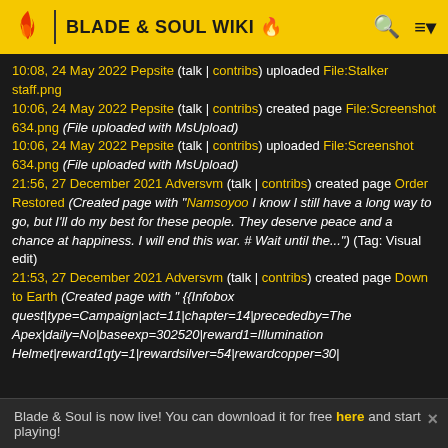BLADE & SOUL WIKI
10:08, 24 May 2022 Pepsite (talk | contribs) uploaded File:Stalker staff.png
10:06, 24 May 2022 Pepsite (talk | contribs) created page File:Screenshot 634.png (File uploaded with MsUpload)
10:06, 24 May 2022 Pepsite (talk | contribs) uploaded File:Screenshot 634.png (File uploaded with MsUpload)
21:56, 27 December 2021 Adversvm (talk | contribs) created page Order Restored (Created page with "Namsoyoo I know I still have a long way to go, but I'll do my best for these people. They deserve peace and a chance at happiness. I will end this war. # Wait until the...") (Tag: Visual edit)
21:53, 27 December 2021 Adversvm (talk | contribs) created page Down to Earth (Created page with "{{Infobox quest|type=Campaign|act=11|chapter=14|precededby=The Apex|daily=No|baseexp=302520|reward1=Illumination Helmet|reward1qty=1|rewardsilver=54|rewardcopper=30|
Blade & Soul is now live! You can download it for free here and start playing!